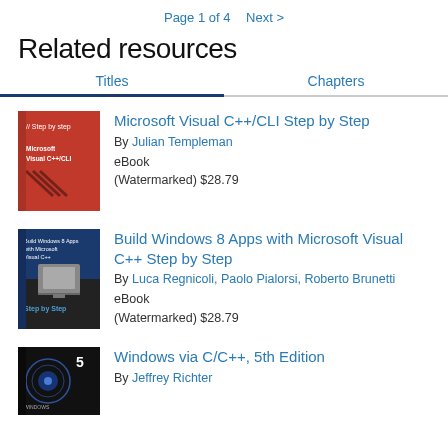Page 1 of 4   Next >
Related resources
Titles   Chapters
Microsoft Visual C++/CLI Step by Step
By Julian Templeman
eBook (Watermarked) $28.79
Build Windows 8 Apps with Microsoft Visual C++ Step by Step
By Luca Regnicoli, Paolo Pialorsi, Roberto Brunetti
eBook (Watermarked) $28.79
Windows via C/C++, 5th Edition
By Jeffrey Richter